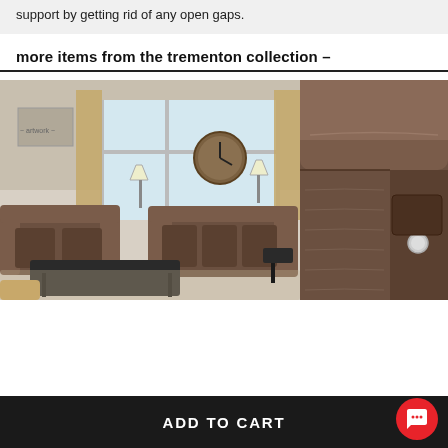support by getting rid of any open gaps.
more items from the trementon collection –
[Figure (photo): Living room scene showing two brown microfiber reclining sofas arranged around a dark coffee table, with a large wall clock, curtains, and windows in the background.]
[Figure (photo): Close-up of the arm and side panel of a brown recliner sofa, showing a white power recline button on the side panel.]
ADD TO CART